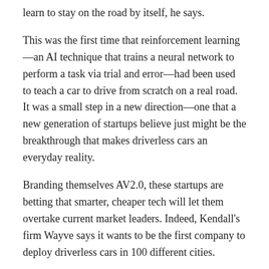learn to stay on the road by itself, he says.
This was the first time that reinforcement learning—an AI technique that trains a neural network to perform a task via trial and error—had been used to teach a car to drive from scratch on a real road. It was a small step in a new direction—one that a new generation of startups believe just might be the breakthrough that makes driverless cars an everyday reality.
Branding themselves AV2.0, these startups are betting that smarter, cheaper tech will let them overtake current market leaders. Indeed, Kendall's firm Wayve says it wants to be the first company to deploy driverless cars in 100 different cities.
But is this yet more hype from an industry that's been drinking its own Kool-Aid for years? Read the full story.
—Will Douglas Heaven
Watch a robotic shoulder practice twisting and stretching human cells